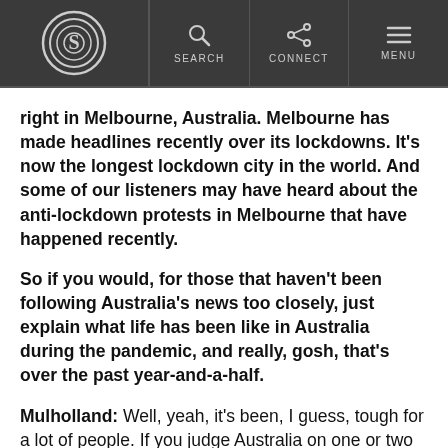S | SEARCH | CONNECT | MENU
right in Melbourne, Australia. Melbourne has made headlines recently over its lockdowns. It's now the longest lockdown city in the world. And some of our listeners may have heard about the anti-lockdown protests in Melbourne that have happened recently.
So if you would, for those that haven't been following Australia's news too closely, just explain what life has been like in Australia during the pandemic, and really, gosh, that's over the past year-and-a-half.
Mulholland: Well, yeah, it's been, I guess, tough for a lot of people. If you judge Australia on one or two